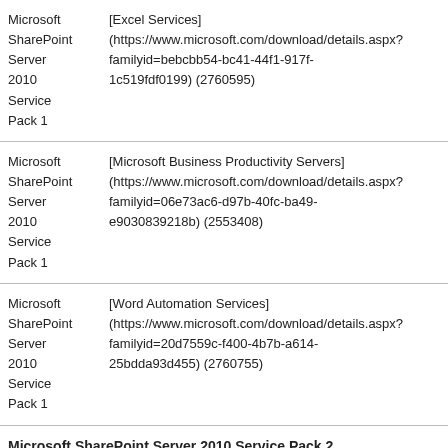| Product | Update |
| --- | --- |
| Microsoft SharePoint Server 2010 Service Pack 1 | [Excel Services] (https://www.microsoft.com/download/details.aspx?familyid=bebcbb54-bc41-44f1-917f-1c519fdf0199) (2760595) |
| Microsoft SharePoint Server 2010 Service Pack 1 | [Microsoft Business Productivity Servers] (https://www.microsoft.com/download/details.aspx?familyid=06e73ac6-d97b-40fc-ba49-e9030839218b) (2553408) |
| Microsoft SharePoint Server 2010 Service Pack 1 | [Word Automation Services] (https://www.microsoft.com/download/details.aspx?familyid=20d7559c-f400-4b7b-a614-25bdda93d455) (2760755) |
Microsoft SharePoint Server 2010 Service Pack 2